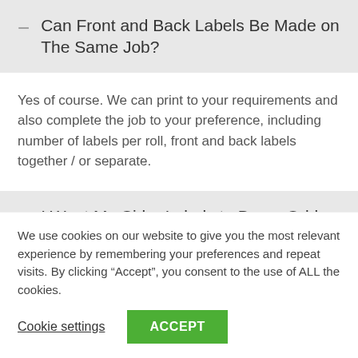Can Front and Back Labels Be Made on The Same Job?
Yes of course. We can print to your requirements and also complete the job to your preference, including number of labels per roll, front and back labels together / or separate.
I Want My Cider Labels to Be an Odd Shape, Can It Be Made?
We use cookies on our website to give you the most relevant experience by remembering your preferences and repeat visits. By clicking "Accept", you consent to the use of ALL the cookies.
Cookie settings   ACCEPT